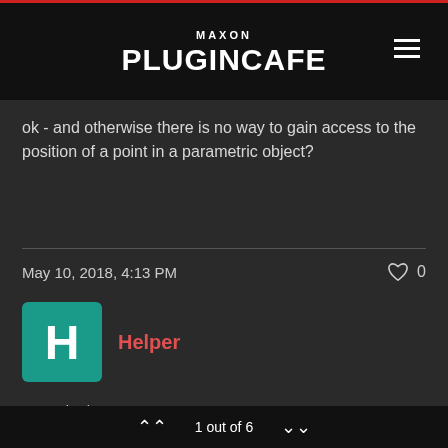MAXON PLUGINCAFE
ok - and otherwise there is no way to gain access to the position of a point in a parametric object?
May 10, 2018, 4:13 PM
Helper
On 05/11/2015 at 14:56, xxxxxxxx wrote:
For parametric and deformed objects, you should check
1 out of 6